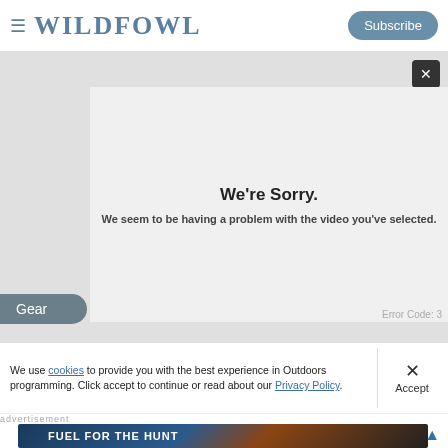WILDFOWL | Subscribe
[Figure (screenshot): Video player area showing an error state with a light gray background. An inner panel displays 'We're Sorry.' and 'We seem to be having a problem with the video you've selected.' with an error code visible at the bottom right. A close button (X) is in the top right corner. A 'Gear' label tab appears at the bottom left.]
We're Sorry.
We seem to be having a problem with the video you've selected.
We use cookies to provide you with the best experience in Outdoors programming. Click accept to continue or read about our Privacy Policy.
Advertisement
[Figure (photo): Old Trapper branded advertisement banner: 'FUEL FOR THE HUNT' with product images on dark background]